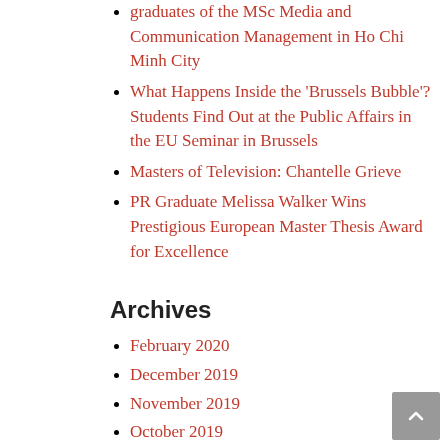graduates of the MSc Media and Communication Management in Ho Chi Minh City
What Happens Inside the 'Brussels Bubble'? Students Find Out at the Public Affairs in the EU Seminar in Brussels
Masters of Television: Chantelle Grieve
PR Graduate Melissa Walker Wins Prestigious European Master Thesis Award for Excellence
Archives
February 2020
December 2019
November 2019
October 2019
September 2019